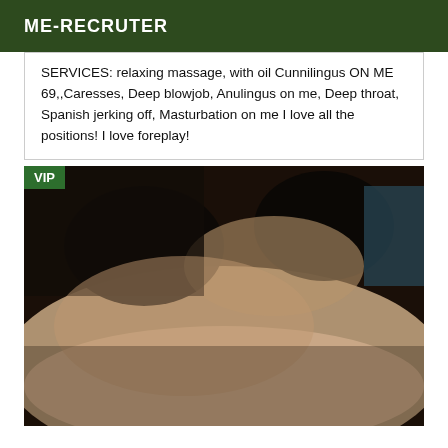ME-RECRUTER
SERVICES: relaxing massage, with oil Cunnilingus ON ME 69,,Caresses, Deep blowjob, Anulingus on me, Deep throat, Spanish jerking off, Masturbation on me I love all the positions! I love foreplay!
[Figure (photo): Close-up photograph with VIP badge in top-left corner. Dark and skin-toned areas visible.]